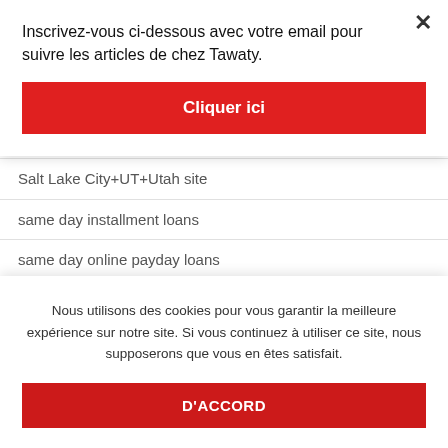Salt Lake City+UT+Utah site
same day installment loans
same day online payday loans
same day title loan
sameday payday loan
San Francisco+CA+California hookup sites
Inscrivez-vous ci-dessous avec votre email pour suivre les articles de chez Tawaty.
Cliquer ici
Nous utilisons des cookies pour vous garantir la meilleure expérience sur notre site. Si vous continuez à utiliser ce site, nous supposerons que vous en êtes satisfait.
D'ACCORD